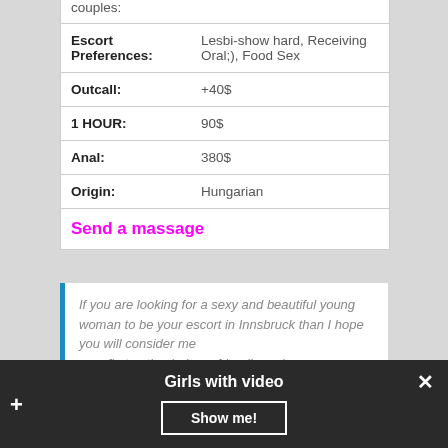couples:
| Escort Preferences: | Lesbi-show hard, Receiving Oral;), Food Sex |
| Outcall: | +40$ |
| 1 HOUR: | 90$ |
| Anal: | 380$ |
| Origin: | Hungarian |
Send a massage
If you are looking for a sexy and beautiful young woman to be your escort in Innsbruck than I hope you will consider me as a first option being a friendly and...
Girls with video
Show me!